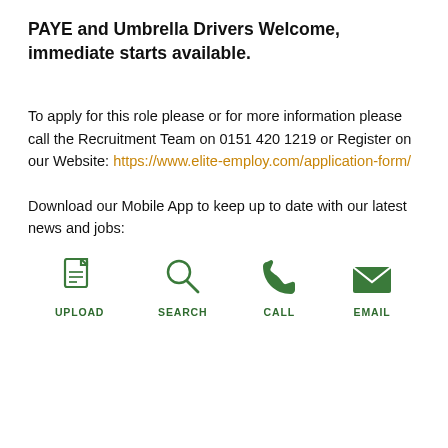PAYE and Umbrella Drivers Welcome, immediate starts available.
To apply for this role please or for more information please call the Recruitment Team on 0151 420 1219 or Register on our Website: https://www.elite-employ.com/application-form/
Download our Mobile App to keep up to date with our latest news and jobs:
[Figure (infographic): Four green icons in a row: UPLOAD (document icon), SEARCH (magnifying glass icon), CALL (phone icon), EMAIL (envelope icon)]